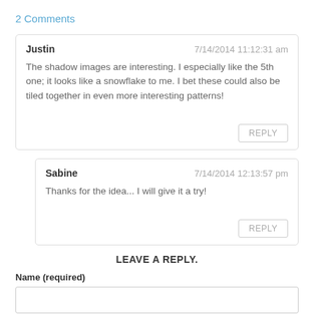2 Comments
Justin
7/14/2014 11:12:31 am
The shadow images are interesting. I especially like the 5th one; it looks like a snowflake to me. I bet these could also be tiled together in even more interesting patterns!
REPLY
Sabine
7/14/2014 12:13:57 pm
Thanks for the idea... I will give it a try!
REPLY
LEAVE A REPLY.
Name (required)